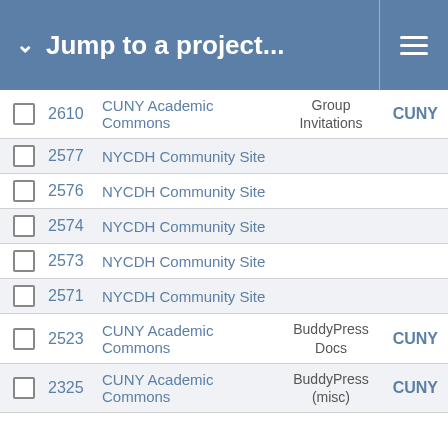Jump to a project...
|  | ID | Project Name | Tag | Network |
| --- | --- | --- | --- | --- |
|  | 2610 | CUNY Academic Commons | Group Invitations | CUNY |
|  | 2577 | NYCDH Community Site |  |  |
|  | 2576 | NYCDH Community Site |  |  |
|  | 2574 | NYCDH Community Site |  |  |
|  | 2573 | NYCDH Community Site |  |  |
|  | 2571 | NYCDH Community Site |  |  |
|  | 2523 | CUNY Academic Commons | BuddyPress Docs | CUNY |
|  | 2325 | CUNY Academic Commons | BuddyPress (misc) | CUNY |